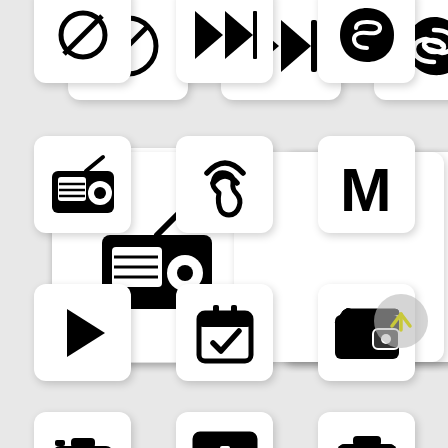[Figure (illustration): Grid of app icons: row1: ban/cancel icon, fast-forward icon, Skype icon; row2: radio icon, hearing/ear icon, letter M icon; row3: play icon, calendar-check icon, wallet icon; row4 (partial): camera icon, bar-chart icon, phone/camera icon. Also a scroll-up button.]
[Figure (illustration): Scroll-to-top circular button with up arrow]